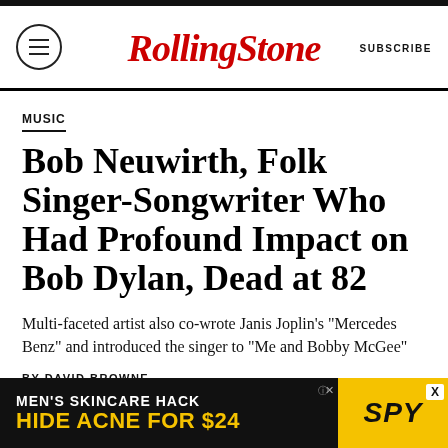Rolling Stone — SUBSCRIBE
MUSIC
Bob Neuwirth, Folk Singer-Songwriter Who Had Profound Impact on Bob Dylan, Dead at 82
Multi-faceted artist also co-wrote Janis Joplin's "Mercedes Benz" and introduced the singer to "Me and Bobby McGee"
BY DAVID BROWNE
MAY 19, 2022
[Figure (other): Advertisement banner: MEN'S SKINCARE HACK / HIDE ACNE FOR $24 with SPY logo]